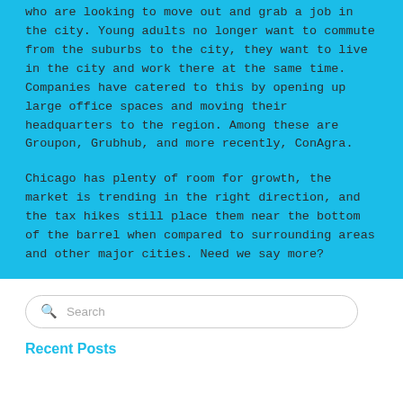who are looking to move out and grab a job in the city. Young adults no longer want to commute from the suburbs to the city, they want to live in the city and work there at the same time. Companies have catered to this by opening up large office spaces and moving their headquarters to the region. Among these are Groupon, Grubhub, and more recently, ConAgra.
Chicago has plenty of room for growth, the market is trending in the right direction, and the tax hikes still place them near the bottom of the barrel when compared to surrounding areas and other major cities. Need we say more?
Search
Recent Posts